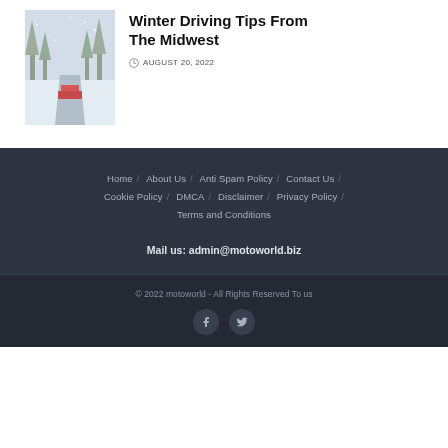[Figure (photo): Thumbnail photo of a snowy winter road with a vehicle, trees covered in snow]
Winter Driving Tips From The Midwest
AUGUST 20, 2022
Home / About Us / Anti Spam Policy / Contact Us / Cookie Policy / DMCA / Disclaimer / Privacy Policy / Terms and Conditions
Mail us: admin@motoworld.biz
© 2022 motoworld - All Rights Reserved To us